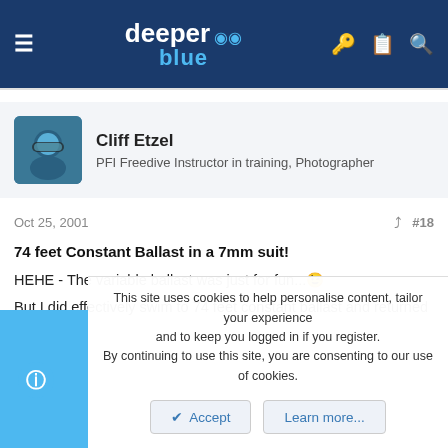deeper blue
[Figure (photo): Cliff Etzel avatar - person with diving mask underwater]
Cliff Etzel
PFI Freedive Instructor in training, Photographer
Oct 25, 2001  #18
74 feet Constant Ballast in a 7mm suit!
HEHE - The variable ballast was just for fun... 😉
But I did effectively swim to 74 feet constant ballast and returned safely. I
This site uses cookies to help personalise content, tailor your experience and to keep you logged in if you register.
By continuing to use this site, you are consenting to our use of cookies.